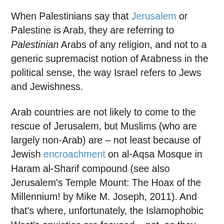When Palestinians say that Jerusalem or Palestine is Arab, they are referring to Palestinian Arabs of any religion, and not to a generic supremacist notion of Arabness in the political sense, the way Israel refers to Jews and Jewishness.
Arab countries are not likely to come to the rescue of Jerusalem, but Muslims (who are largely non-Arab) are – not least because of Jewish encroachment on al-Aqsa Mosque in Haram al-Sharif compound (see also Jerusalem's Temple Mount: The Hoax of the Millennium! by Mike M. Joseph, 2011). And that's where, unfortunately, the Islamophobic West's anxieties are focused – not, as they ought to be, on warmongering Israel (See After